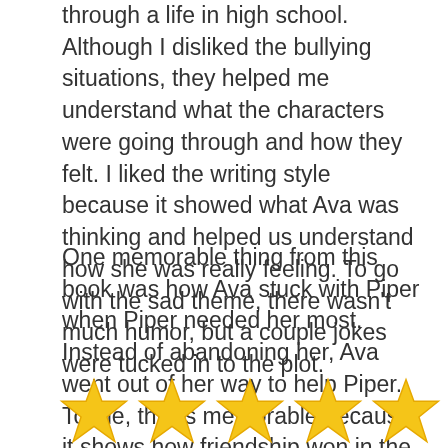through a life in high school. Although I disliked the bullying situations, they helped me understand what the characters were going through and how they felt. I liked the writing style because it showed what Ava was thinking and helped us understand how she was really feeling. To go with the sad theme, there wasn't much humor, but a couple jokes were tucked in to the plot.
One memorable thing from this book was how Ava stuck with Piper when Piper needed her most. Instead of abandoning her, Ava went out of her way to help Piper. To me, this is memorable because it shows how friendship won in the end.
[Figure (other): Five yellow star rating icons partially visible at the bottom of the page]